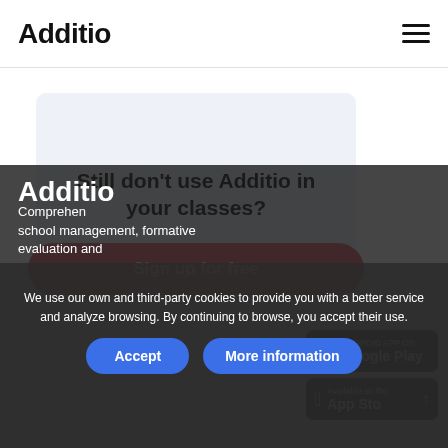Additio
[Figure (other): Promotional box with light blue-grey background containing headline 'Still don't use Additio in your classes?' and a pink rounded 'Sign up for free' button]
Still don't use Additio in your classes?
Sign up for free
Additio
Comprehensive mobile app for school management, formative evaluation and
[Figure (logo): Google Play store badge]
[Figure (logo): Apple App Store badge]
We use our own and third-party cookies to provide you with a better service and analyze browsing. By continuing to browse, you accept their use.
Accept
More information